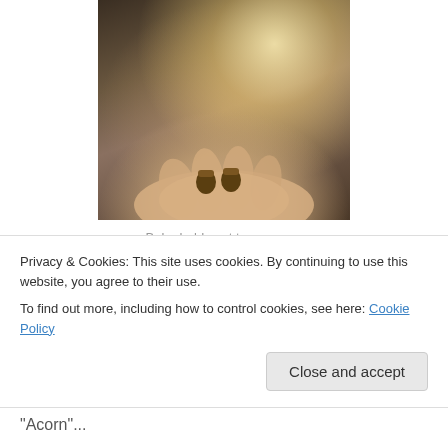[Figure (photo): A person (Baba) holding out two acorns in an open hand, backlit with sunlight, outdoors.]
Baba holds out two acorns.
Every childhood hike with my father inevitably led to the pivotal acorn moment. Baba, as we call him, would hold
Privacy & Cookies: This site uses cookies. By continuing to use this website, you agree to their use.
To find out more, including how to control cookies, see here: Cookie Policy
Close and accept
"Acorn"...